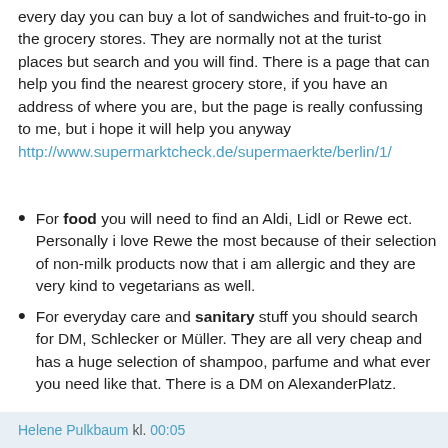every day you can buy a lot of sandwiches and fruit-to-go in the grocery stores. They are normally not at the turist places but search and you will find. There is a page that can help you find the nearest grocery store, if you have an address of where you are, but the page is really confussing to me, but i hope it will help you anyway http://www.supermarktcheck.de/supermaerkte/berlin/1/
For food you will need to find an Aldi, Lidl or Rewe ect. Personally i love Rewe the most because of their selection of non-milk products now that i am allergic and they are very kind to vegetarians as well.
For everyday care and sanitary stuff you should search for DM, Schlecker or Müller. They are all very cheap and has a huge selection of shampoo, parfume and what ever you need like that. There is a DM on AlexanderPlatz.
Helene Pulkbaum kl. 00:05